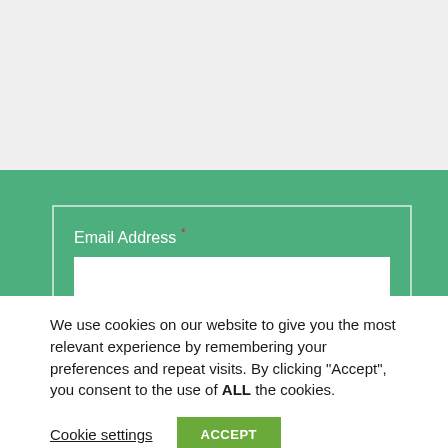[Figure (screenshot): Green website section with a form box containing an 'Email Address' label with required asterisk and a white text input field, and a partially visible checkbox row with text 'We will send newsletters, offers, and']
We use cookies on our website to give you the most relevant experience by remembering your preferences and repeat visits. By clicking "Accept", you consent to the use of ALL the cookies.
Cookie settings
ACCEPT